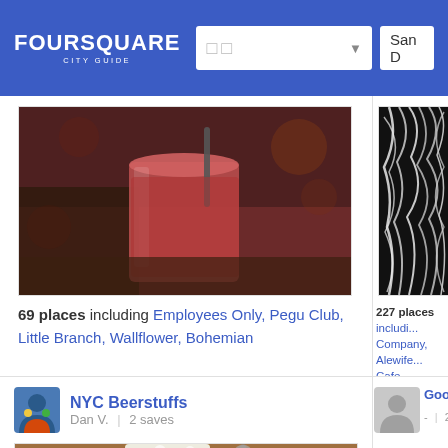FOURSQUARE CITY GUIDE — search bar — San D...
[Figure (photo): Photo of a red cocktail drink with a straw in a glass, warm-toned bokeh background]
69 places including Employees Only, Pegu Club, Little Branch, Wallflower, Bohemian
[Figure (photo): Photo of white noodle-like food strands on dark background, partially visible (right column)]
227 places includi... Company, Alewife ... Cafe D'Alsace, The...
NYC Beerstuffs
Dan V.  |  2 saves
[Figure (photo): Photo of a glass of golden beer on a wooden table]
Goodbye, N...
-  |  2 saves
138 places includi... Park, Goddard Res... NYU Elmer Holmes...